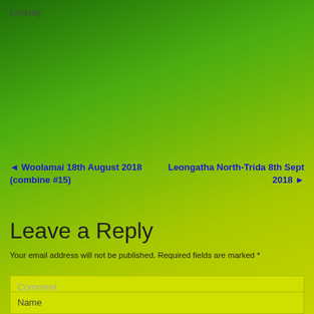Lindsay
◄ Woolamai 18th August 2018 (combine #15)
Leongatha North-Trida 8th Sept 2018 ►
Leave a Reply
Your email address will not be published. Required fields are marked *
Comment
Name